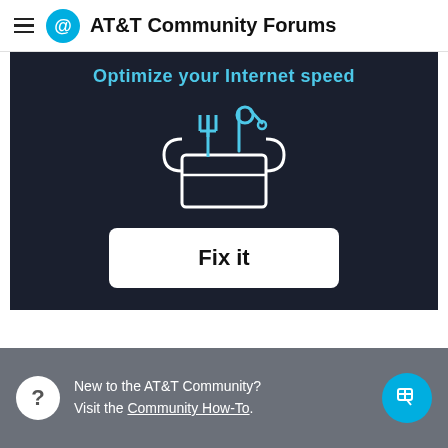AT&T Community Forums
[Figure (screenshot): Dark banner with text 'Optimize your Internet speed', a tools/wrench icon illustration, and a white 'Fix it' button]
New to the AT&T Community? Visit the Community How-To.